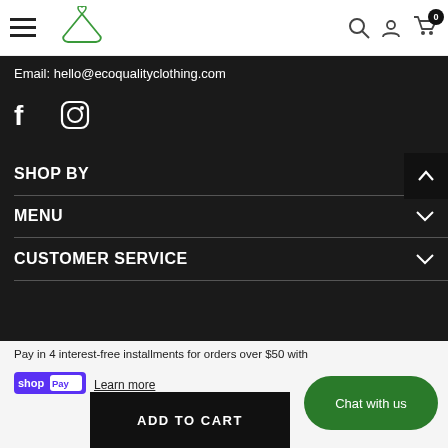Eco Quality Clothing — navigation header with hamburger menu, hanger logo, search, account, and cart icons
Email: hello@ecoqualityclothing.com
[Figure (other): Facebook and Instagram social media icons]
SHOP BY
MENU
CUSTOMER SERVICE
Pay in 4 interest-free installments for orders over $50 with
[Figure (logo): Shop Pay logo]
Learn more
ADD TO CART
Chat with us